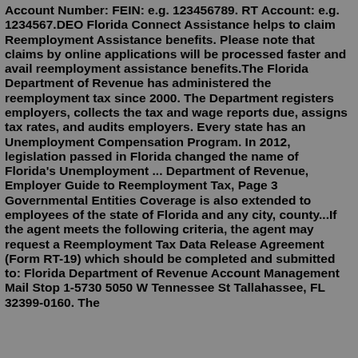Account Number: FEIN: e.g. 123456789. RT Account: e.g. 1234567.DEO Florida Connect Assistance helps to claim Reemployment Assistance benefits. Please note that claims by online applications will be processed faster and avail reemployment assistance benefits.The Florida Department of Revenue has administered the reemployment tax since 2000. The Department registers employers, collects the tax and wage reports due, assigns tax rates, and audits employers. Every state has an Unemployment Compensation Program. In 2012, legislation passed in Florida changed the name of Florida's Unemployment ... Department of Revenue, Employer Guide to Reemployment Tax, Page 3 Governmental Entities Coverage is also extended to employees of the state of Florida and any city, county...If the agent meets the following criteria, the agent may request a Reemployment Tax Data Release Agreement (Form RT-19) which should be completed and submitted to: Florida Department of Revenue Account Management Mail Stop 1-5730 5050 W Tennessee St Tallahassee, FL 32399-0160. The